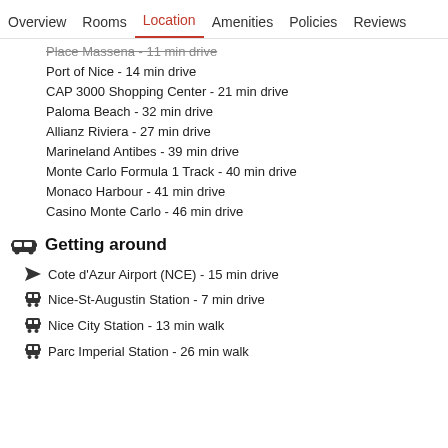Overview  Rooms  Location  Amenities  Policies  Reviews
Place Massena - 11 min drive
Port of Nice - 14 min drive
CAP 3000 Shopping Center - 21 min drive
Paloma Beach - 32 min drive
Allianz Riviera - 27 min drive
Marineland Antibes - 39 min drive
Monte Carlo Formula 1 Track - 40 min drive
Monaco Harbour - 41 min drive
Casino Monte Carlo - 46 min drive
Getting around
Cote d'Azur Airport (NCE) - 15 min drive
Nice-St-Augustin Station - 7 min drive
Nice City Station - 13 min walk
Parc Imperial Station - 26 min walk